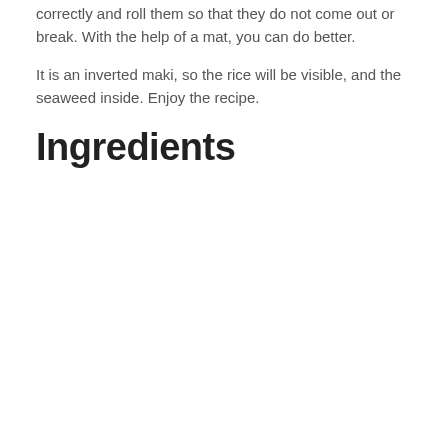The most difficult thing is to place all the ingredients correctly and roll them so that they do not come out or break. With the help of a mat, you can do better.
It is an inverted maki, so the rice will be visible, and the seaweed inside. Enjoy the recipe.
Ingredients